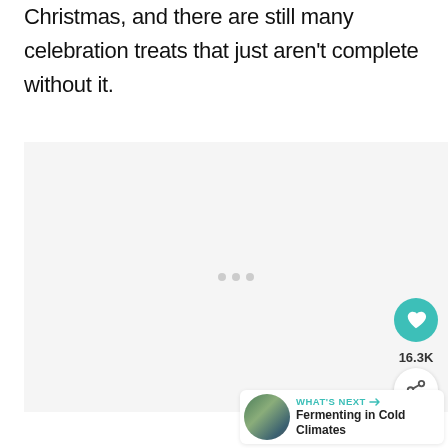Christmas, and there are still many celebration treats that just aren't complete without it.
[Figure (other): Advertisement placeholder area with three gray dots in the center, light gray background]
16.3K
WHAT'S NEXT → Fermenting in Cold Climates